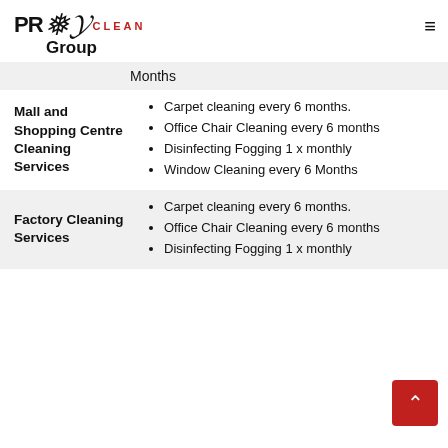PRO2CLEAN Group
Months
| Service | Details |
| --- | --- |
| Mall and Shopping Centre Cleaning Services | Carpet cleaning every 6 months. | Office Chair Cleaning every 6 months | Disinfecting Fogging 1 x monthly | Window Cleaning every 6 Months |
| Factory Cleaning Services | Carpet cleaning every 6 months. | Office Chair Cleaning every 6 months | Disinfecting Fogging 1 x monthly |